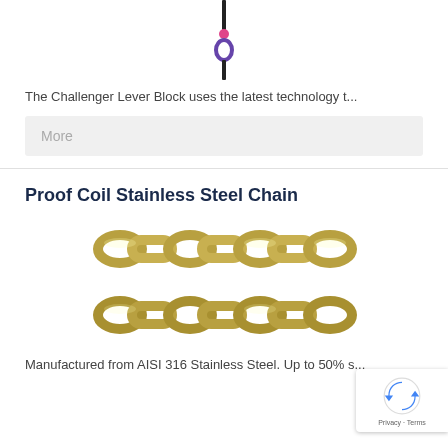[Figure (photo): Top portion of a lever block/hoist product photo showing chain and hook mechanism with pink and purple accent pieces]
The Challenger Lever Block uses the latest technology t...
More
Proof Coil Stainless Steel Chain
[Figure (photo): Two rows of stainless steel proof coil chain links, showing silver metallic interlocking chain links]
Manufactured from AISI 316 Stainless Steel. Up to 50% s...